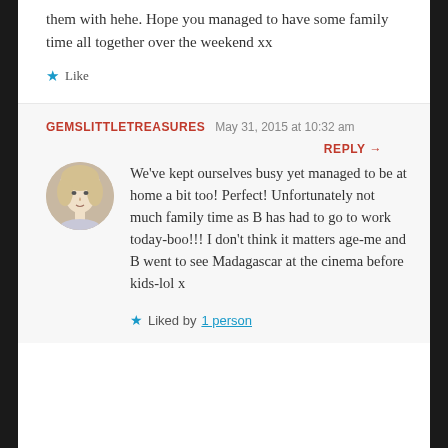them with hehe. Hope you managed to have some family time all together over the weekend xx
★ Like
GEMSLITTLETREASURES   May 31, 2015 at 10:32 am
REPLY →
[Figure (photo): Circular avatar photo of a blonde woman]
We've kept ourselves busy yet managed to be at home a bit too! Perfect! Unfortunately not much family time as B has had to go to work today-boo!!! I don't think it matters age-me and B went to see Madagascar at the cinema before kids-lol x
★ Liked by 1 person